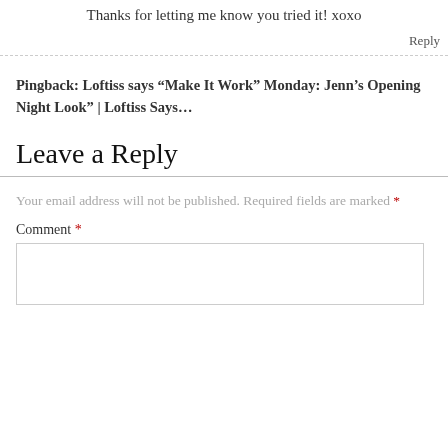Thanks for letting me know you tried it! xoxo
Reply
Pingback: Loftiss says “Make It Work” Monday: Jenn’s Opening Night Look” | Loftiss Says…
Leave a Reply
Your email address will not be published. Required fields are marked *
Comment *